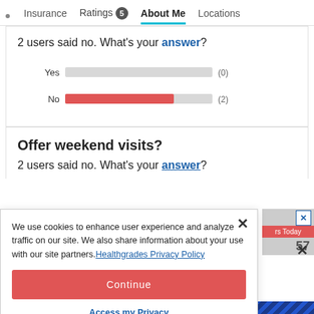Insurance  Ratings 5  About Me  Locations
2 users said no. What's your answer?
[Figure (bar-chart): Yes/No poll results]
Offer weekend visits?
2 users said no. What's your answer?
We use cookies to enhance user experience and analyze traffic on our site. We also share information about your use with our site partners. Healthgrades Privacy Policy
Continue
Access my Privacy Preferences